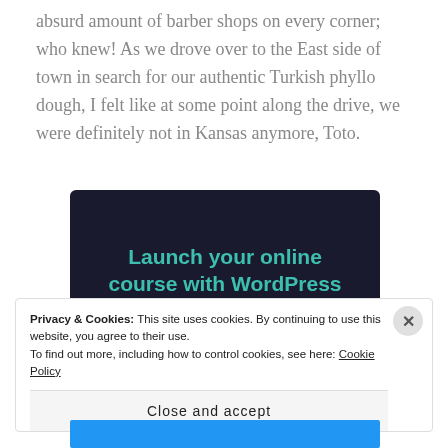absurd amount of barber shops on every corner; who knew! As we drove over to the East side of town in search for our authentic Turkish phyllo dough, I felt like at some point along the drive, we were definitely not in Kansas anymore, Toto.
[Figure (infographic): Dark navy advertisement banner: 'Launch your online course with WordPress' with a teal 'Learn More' button.]
Privacy & Cookies: This site uses cookies. By continuing to use this website, you agree to their use.
To find out more, including how to control cookies, see here: Cookie Policy
Close and accept